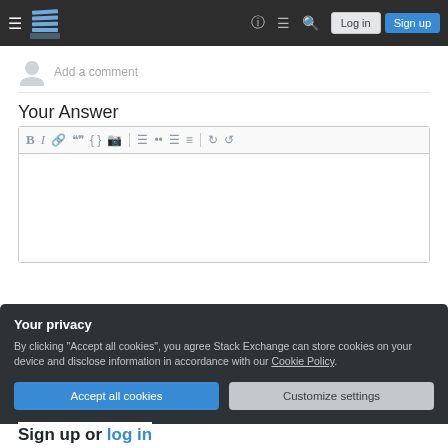Stack Exchange navigation bar with hamburger menu, logo, help, chat, search, Log in, Sign up
Add a comment
Your Answer
[Figure (screenshot): Text editor toolbar with formatting icons: Bold, Italic, Link, Blockquote, Code, Image, Ordered list, Unordered list, Align left, Align justify, Undo, Redo]
Your privacy
By clicking "Accept all cookies", you agree Stack Exchange can store cookies on your device and disclose information in accordance with our Cookie Policy.
Accept all cookies
Customize settings
Sign up or log in